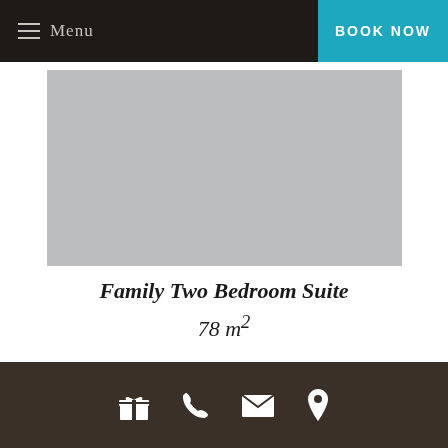Menu | BOOK NOW
[Figure (photo): Hotel room image placeholder — grey rectangle representing a Family Two Bedroom Suite interior photo]
Family Two Bedroom Suite
78 m²
Footer with icons: gift, phone, envelope, map pin